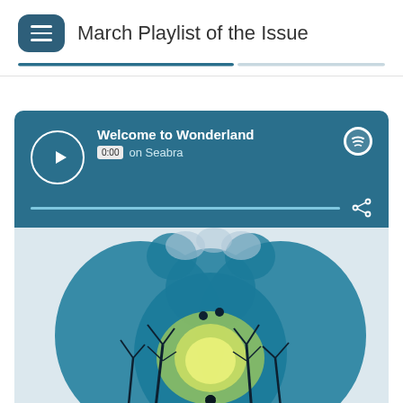March Playlist of the Issue
[Figure (screenshot): Spotify embedded music player showing 'Welcome to Wonderland' by Anson Seabra, with play button, progress bar at 0:00, Spotify logo, and share icon, overlaid on album artwork featuring a fantasy illustration of a girl silhouette in a moonlit forest shaped like a bear or cloud creature.]